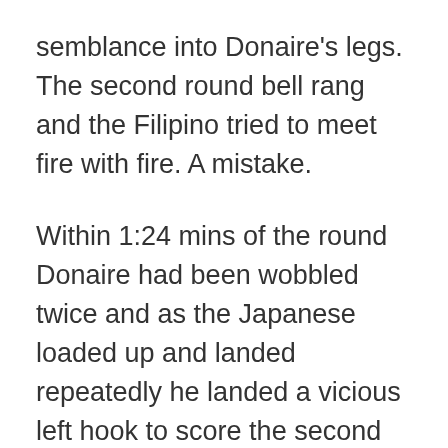semblance into Donaire's legs. The second round bell rang and the Filipino tried to meet fire with fire. A mistake.
Within 1:24 mins of the round Donaire had been wobbled twice and as the Japanese loaded up and landed repeatedly he landed a vicious left hook to score the second knockdown. The referee waved the fight over immediately. The destruction was complete and a multi-weight champion had been